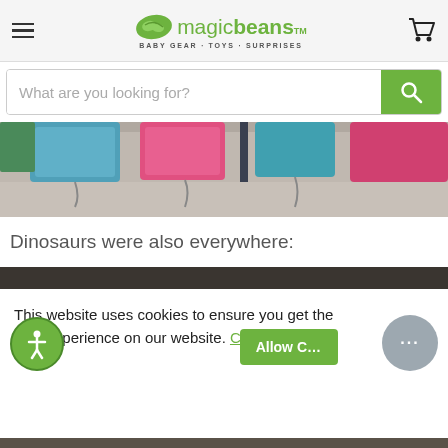magic beans - BABY GEAR · TOYS · SURPRISES
What are you looking for?
[Figure (photo): Partial view of colorful backpacks/bags displayed on hooks against a wall, showing pink, teal, and other colored bags from below]
Dinosaurs were also everywhere:
[Figure (photo): Partially visible dark-themed image, cut off by cookie consent banner]
This website uses cookies to ensure you get the best experience on our website. Cookie Policy
Allow C...